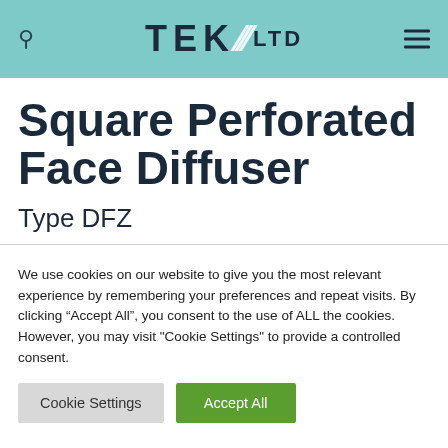TEK /// LTD
Square Perforated Face Diffuser
Type DFZ
We use cookies on our website to give you the most relevant experience by remembering your preferences and repeat visits. By clicking “Accept All”, you consent to the use of ALL the cookies. However, you may visit "Cookie Settings" to provide a controlled consent.